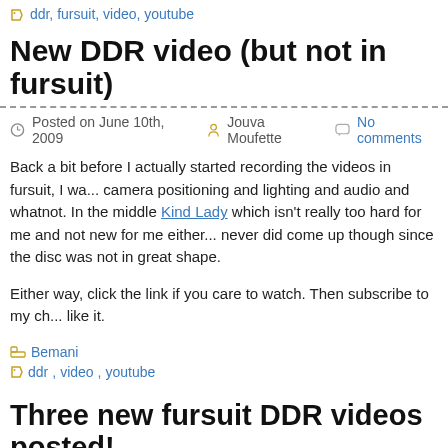ddr, fursuit, video, youtube
New DDR video (but not in fursuit)
Posted on June 10th, 2009   Jouva Moufette   No comments
Back a bit before I actually started recording the videos in fursuit, I wa... camera positioning and lighting and audio and whatnot. In the middle Kind Lady which isn't really too hard for me and not new for me either... never did come up though since the disc was not in great shape.
Either way, click the link if you care to watch. Then subscribe to my ch... like it.
Bemani
ddr, video, youtube
Three new fursuit DDR videos posted!
Posted on June 8th, 2009   Jouva Moufette   No comments
Good news is that I managed to get the equipment to hook up my VC... So I was able to properly encode the latest videos now. These videos... videos, include better and direct audio feed of the song AND video in ...